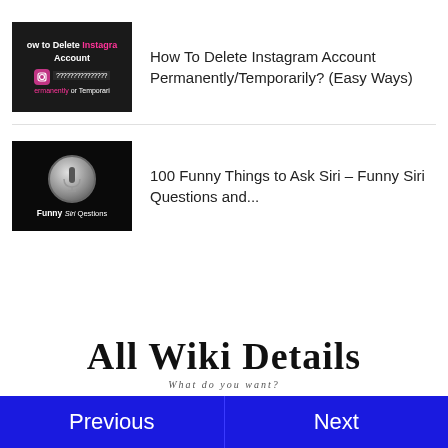How To Delete Instagram Account Permanently/Temporarily? (Easy Ways)
100 Funny Things to Ask Siri – Funny Siri Questions and...
[Figure (logo): All Wiki Details logo with tagline 'What do you want?']
Previous | Next